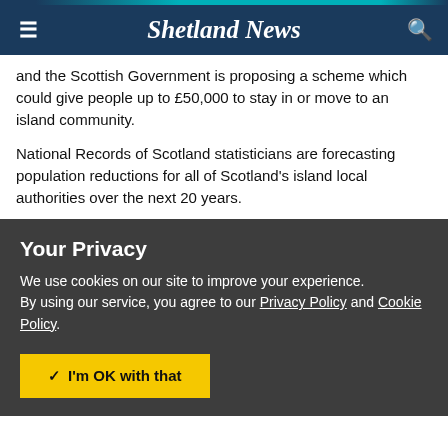Shetland News
and the Scottish Government is proposing a scheme which could give people up to £50,000 to stay in or move to an island community.
National Records of Scotland statisticians are forecasting population reductions for all of Scotland's island local authorities over the next 20 years.
Your Privacy
We use cookies on our site to improve your experience.
By using our service, you agree to our Privacy Policy and Cookie Policy.
I'm OK with that